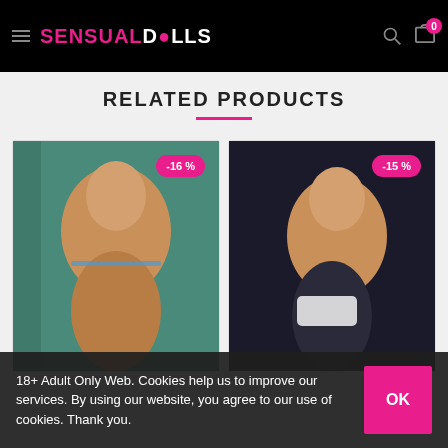SENSUALDOLLS
RELATED PRODUCTS
[Figure (photo): Product photo with -16 % discount badge]
[Figure (photo): Product photo with -15 % discount badge]
18+ Adult Only Web. Cookies help us to improve our services. By using our website, you agree to our use of cookies. Thank you.